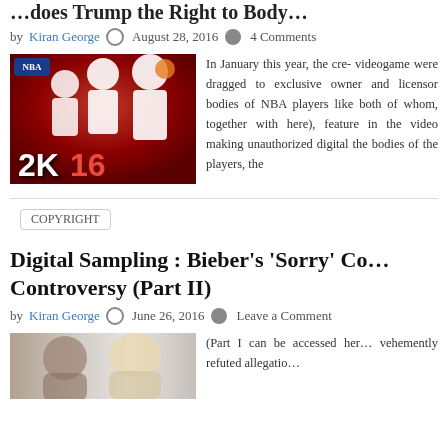…does Trump the Right to Body…
by Kiran George  August 28, 2016  4 Comments
[Figure (photo): NBA 2K16 video game cover art showing NBA basketball players on a red background with the NBA 2K16 logo]
In January this year, the cre- videogame were dragged to exclusive owner and licensor bodies of NBA players like both of whom, together with here), feature in the video making unauthorized digital the bodies of the players, the
COPYRIGHT
Digital Sampling : Bieber's 'Sorry' Co… Controversy (Part II)
by Kiran George  June 26, 2016  Leave a Comment
[Figure (photo): Photo showing two people's faces, likely related to Justin Bieber Sorry controversy article]
(Part I can be accessed her… vehemently refuted allegatio…